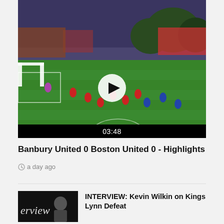[Figure (screenshot): Football match video thumbnail showing players on a green pitch during an evening match. Red and blue kits visible. A circular white play button overlay is centered. Duration bar at bottom shows 03:48.]
Banbury United 0 Boston United 0 - Highlights
a day ago
[Figure (screenshot): Interview video thumbnail showing a dark background with italic text 'erview' in white and a person's face partially visible.]
INTERVIEW: Kevin Wilkin on Kings Lynn Defeat